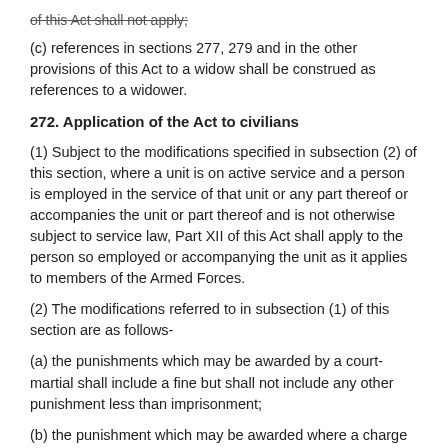of this Act shall not apply;
(c) references in sections 277, 279 and in the other provisions of this Act to a widow shall be construed as references to a widower.
272. Application of the Act to civilians
(1) Subject to the modifications specified in subsection (2) of this section, where a unit is on active service and a person is employed in the service of that unit or any part thereof or accompanies the unit or part thereof and is not otherwise subject to service law, Part XII of this Act shall apply to the person so employed or accompanying the unit as it applies to members of the Armed Forces.
(2) The modifications referred to in subsection (1) of this section are as follows-
(a) the punishments which may be awarded by a court-martial shall include a fine but shall not include any other punishment less than imprisonment;
(b) the punishment which may be awarded where a charge is dealt with summarily shall, in the case of an offence, be a fine not exceeding five hundred naira, but no other punishment;